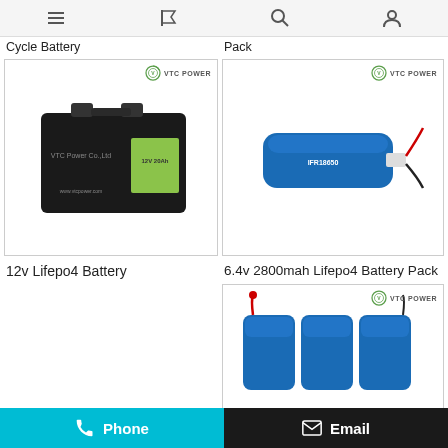Navigation bar with menu, flag, search, and user icons
Cycle Battery
[Figure (photo): 12v LiFePO4 black battery with VTC Power Co. Ltd branding and green label]
12v Lifepo4 Battery
Pack
[Figure (photo): 6.4v 2800mah LiFePO4 blue cylindrical battery pack with red and black wire connector and VTC Power branding]
6.4v 2800mah Lifepo4 Battery Pack
[Figure (photo): Three blue LiFePO4 battery cells arranged side by side with red wire connector and VTC Power branding]
Phone | Email